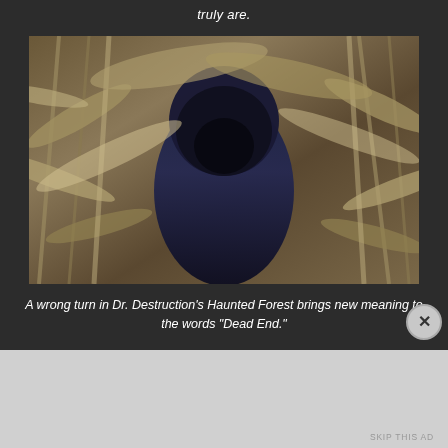truly are.
[Figure (photo): Person in dark hooded jacket viewed from behind, surrounded by dry corn stalks in a haunted forest maze]
A wrong turn in Dr. Destruction's Haunted Forest brings new meaning to the words "Dead End."
SKIP THIS AD